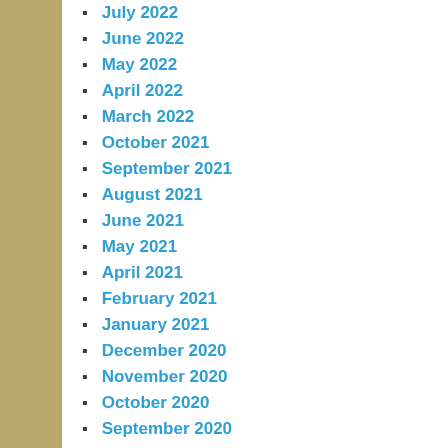July 2022
June 2022
May 2022
April 2022
March 2022
October 2021
September 2021
August 2021
June 2021
May 2021
April 2021
February 2021
January 2021
December 2020
November 2020
October 2020
September 2020
August 2020
April 2020
February 2020
January 2020
December 2019